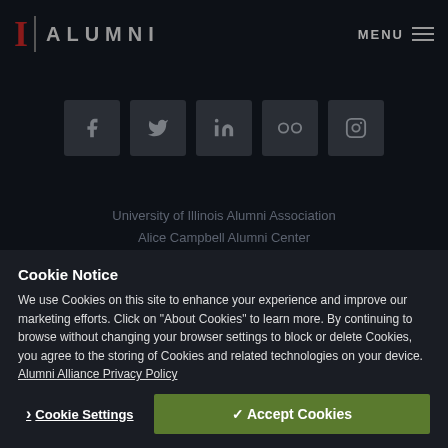I | ALUMNI   MENU
[Figure (infographic): Row of 5 social media icons: Facebook, Twitter, LinkedIn, Flickr, Instagram on dark square backgrounds]
University of Illinois Alumni Association
Alice Campbell Alumni Center
601 S. Lincoln Avenue
Urbana, IL 61801
Get Directions
Cookie Notice
We use Cookies on this site to enhance your experience and improve our marketing efforts. Click on "About Cookies" to learn more. By continuing to browse without changing your browser settings to block or delete Cookies, you agree to the storing of Cookies and related technologies on your device.
Alumni Alliance Privacy Policy
❯ Cookie Settings   ✓ Accept Cookies